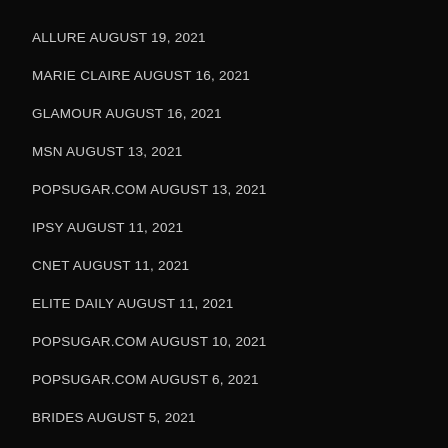ALLURE AUGUST 19, 2021
MARIE CLAIRE AUGUST 16, 2021
GLAMOUR AUGUST 16, 2021
MSN AUGUST 13, 2021
POPSUGAR.COM AUGUST 13, 2021
IPSY AUGUST 11, 2021
CNET AUGUST 11, 2021
ELITE DAILY AUGUST 11, 2021
POPSUGAR.COM AUGUST 10, 2021
POPSUGAR.COM AUGUST 6, 2021
BRIDES AUGUST 5, 2021